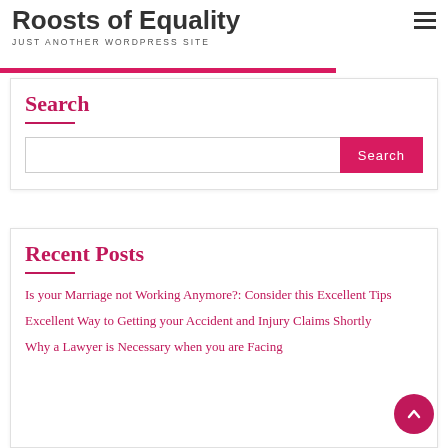Roosts of Equality
JUST ANOTHER WORDPRESS SITE
Search
Search
Recent Posts
Is your Marriage not Working Anymore?: Consider this Excellent Tips
Excellent Way to Getting your Accident and Injury Claims Shortly
Why a Lawyer is Necessary when you are Facing